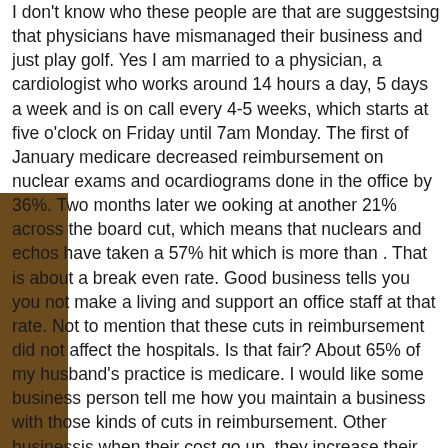I don't know who these people are that are suggestsing that physicians have mismanaged their business and just play golf. Yes I am married to a physician, a cardiologist who works around 14 hours a day, 5 days a week and is on call every 4-5 weeks, which starts at five o'clock on Friday until 7am Monday. The first of January medicare decreased reimbursement on nuclear exams and ocardiograms done in the office by 36%. Two months later we ooking at another 21% across the board cut, which means that nuclears and echos have taken a 57% hit which is more than . That is about a break even rate. Good business tells you you not make a living and support an office staff at that rate. Not to mention that these cuts in reimbursement did not affect the hospitals. Is that fair? About 65% of my husband's practice is medicare. I would like some business person tell me how you maintain a business with those kinds of cuts in reimbursement. Other businessis when their cost go up, they increase their prices. Doctors could charge a thousand dollars for an office visit but they are only going to get paid what medicare and the other insurance companies tell them they are getting. The technician that drives two hours to fix a piece of equipment in our office, charges 150.00 an hour including his driving time. Believe me he would not accept 21% less because I said that was all I was paying. I don't know what the answer is but we used American tax dollars to bail out poorly managed and greedy businesses. Those people still received their bonuses...